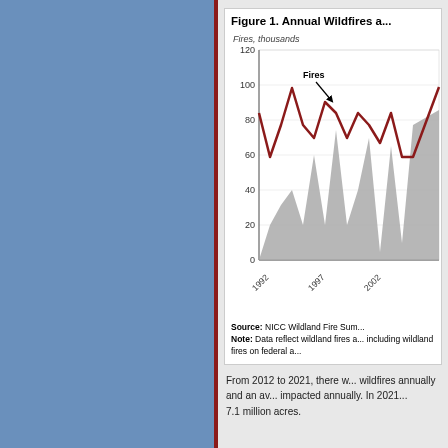[Figure (continuous-plot): Blue decorative panel on left side of page with dark red vertical border on right edge]
Figure 1. Annual Wildfires a...
[Figure (line-chart): Line chart showing annual wildfires (dark red line, thousands) and acres burned (gray area) from 1992 to approximately 2007. Fires range from about 60 to 100 thousand. Acres burned shown as gray filled area rising over time.]
Source: NICC Wildland Fire Sum... Note: Data reflect wildland fires a... including wildland fires on federal a...
From 2012 to 2021, there w... wildfires annually and an av... impacted annually. In 2021... 7.1 million acres.